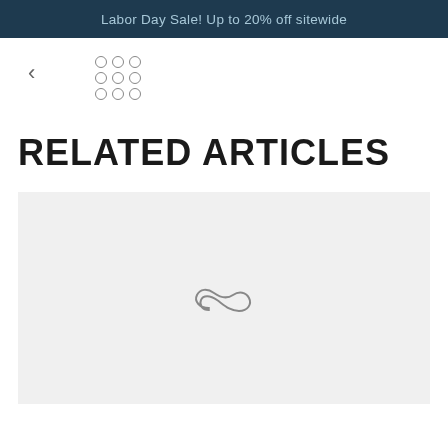Labor Day Sale! Up to 20% off sitewide
[Figure (screenshot): Navigation area with back arrow chevron and a 3x3 grid of circles icon]
RELATED ARTICLES
[Figure (illustration): Light gray placeholder image area with a stylized infinity/loading SVG icon in the center]